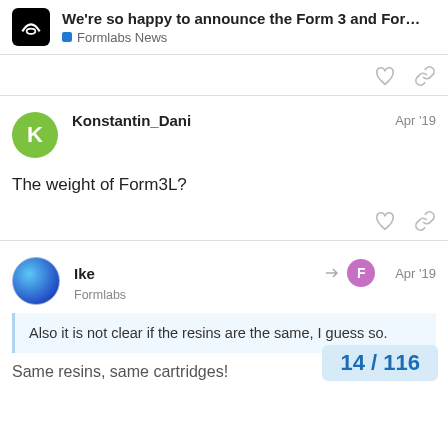We're so happy to announce the Form 3 and For… | Formlabs News
[post actions: like, link]
Konstantin_Dani  Apr '19
The weight of Form3L?
[post actions: like, link]
Ike
Formlabs  Apr '19
Also it is not clear if the resins are the same, I guess so.
Same resins, same cartridges!
14 / 116